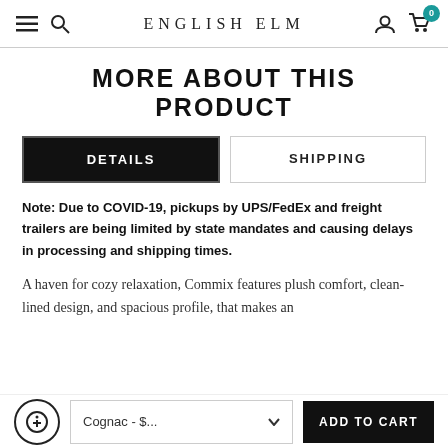ENGLISH ELM — nav bar with menu, search, account, cart (0)
MORE ABOUT THIS PRODUCT
DETAILS | SHIPPING (tab navigation)
Note: Due to COVID-19, pickups by UPS/FedEx and freight trailers are being limited by state mandates and causing delays in processing and shipping times.
A haven for cozy relaxation, Commix features plush comfort, clean-lined design, and spacious profile, that makes an
Cognac - $... | ADD TO CART